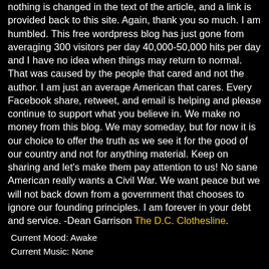nothing is changed in the text of the article, and a link is provided back to this site. Again, thank you so much. I am humbled. This free wordpress blog has just gone from averaging 300 visitors per day 40,000-50,000 hits per day and I have no idea when things may return to normal. That was caused by the people that cared and not the author. I am just an average American that cares. Every Facebook share, retweet, and email is helping and please continue to support what you believe in. We make no money from this blog. We may someday, but for now it is our choice to offer the truth as we see it for the good of our country and not for anything material. Keep on sharing and let's make them pay attention to us! No sane American really wants a Civil War. We want peace but we will not back down from a government that chooses to ignore our founding principles. I am forever in your debt and service. -Dean Garrison The D.C. Clothesline.
Current Mood: Awake
Current Music: None